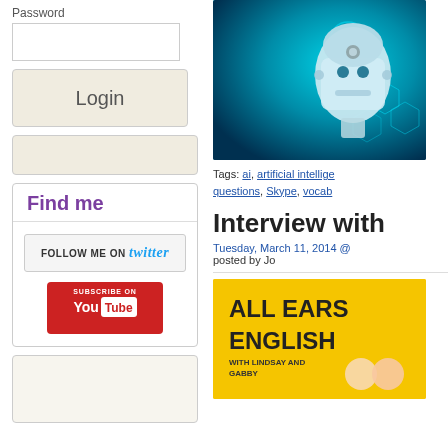Password
[Figure (screenshot): Password input field (empty text box)]
[Figure (screenshot): Login button - grey/beige rounded rectangle]
[Figure (screenshot): Empty beige box]
Find me
[Figure (screenshot): Follow me on Twitter button]
[Figure (screenshot): Subscribe on YouTube button (red)]
[Figure (photo): Robot / AI humanoid head with teal/cyan technology background and hexagonal shapes]
Tags: ai, artificial intelligence, questions, Skype, vocab
Interview with
Tuesday, March 11, 2014 @ posted by Jo
[Figure (photo): All Ears English podcast logo - yellow background with bold black text saying ALL EARS ENGLISH WITH LINDSAY AND GABBY]